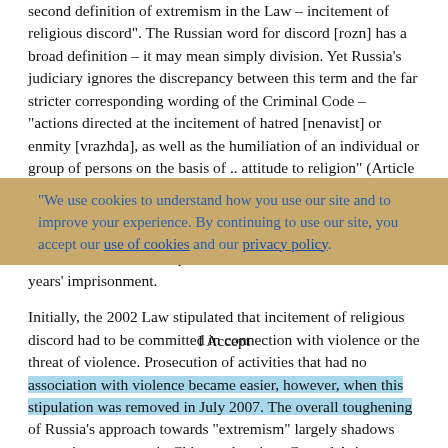second definition of extremism in the Law – incitement of religious discord". The Russian word for discord [rozn] has a broad definition – it may mean simply division. Yet Russia's judiciary ignores the discrepancy between this term and the far stricter corresponding wording of the Criminal Code – "actions directed at the incitement of hatred [nenavist] or enmity [vrazhda], as well as the humiliation of an individual or group of persons on the basis of .. attitude to religion" (Article 282). The Code may consequently be used to prosecute simple disagreement. When committed by an ordinary member of the public, and even if unaccompanied by violence or the threat of violence, the maximum punishment under Article 282 is two years' imprisonment.

Initially, the 2002 Law stipulated that incitement of religious discord had to be committed in connection with violence or the threat of violence. Prosecution of activities that had no association with violence became easier, however, when this stipulation was removed in July 2007. The overall toughening of Russia's approach towards "extremism" largely shadows repressive measures in China and various Central Asian states
We use cookies to understand how you use our site and to improve your experience. By continuing to use our site, you accept our use of cookies and our privacy policy.
I Accept